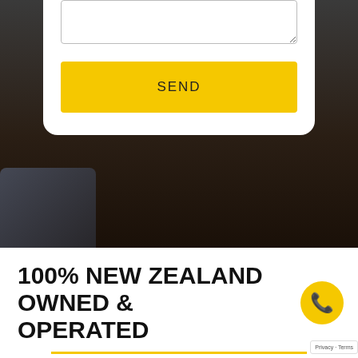[Figure (screenshot): Dark background photo section showing a laptop on a dark wooden desk surface, partially visible at bottom left. A white contact form card overlay at top center with a textarea and yellow SEND button.]
SEND
100% NEW ZEALAND OWNED & OPERATED
Jedi Builders are New Zealanders working for New